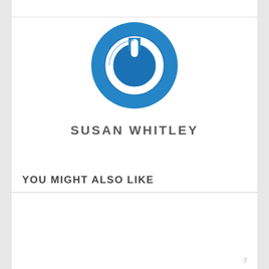[Figure (logo): Blue circular power button logo with white power icon inside]
SUSAN WHITLEY
YOU MIGHT ALSO LIKE